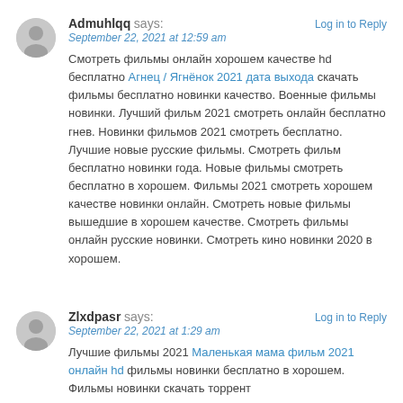Admuhlqq says: Log in to Reply
September 22, 2021 at 12:59 am
Смотреть фильмы онлайн хорошем качестве hd бесплатно Агнец / Ягнёнок 2021 дата выхода скачать фильмы бесплатно новинки качество. Военные фильмы новинки. Лучший фильм 2021 смотреть онлайн бесплатно гнев. Новинки фильмов 2021 смотреть бесплатно. Лучшие новые русские фильмы. Смотреть фильм бесплатно новинки года. Новые фильмы смотреть бесплатно в хорошем. Фильмы 2021 смотреть хорошем качестве новинки онлайн. Смотреть новые фильмы вышедшие в хорошем качестве. Смотреть фильмы онлайн русские новинки. Смотреть кино новинки 2020 в хорошем.
Zlxdpasr says: Log in to Reply
September 22, 2021 at 1:29 am
Лучшие фильмы 2021 Маленькая мама фильм 2021 онлайн hd фильмы новинки бесплатно в хорошем. Фильмы новинки скачать торрент